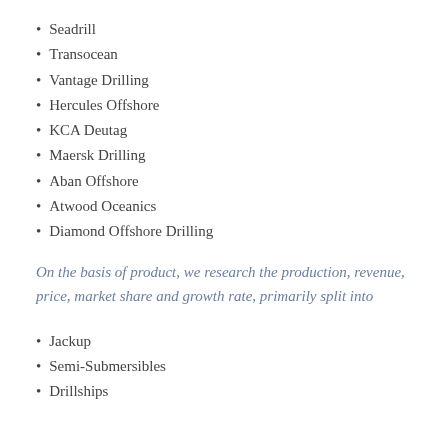Seadrill
Transocean
Vantage Drilling
Hercules Offshore
KCA Deutag
Maersk Drilling
Aban Offshore
Atwood Oceanics
Diamond Offshore Drilling
On the basis of product, we research the production, revenue, price, market share and growth rate, primarily split into
Jackup
Semi-Submersibles
Drillships